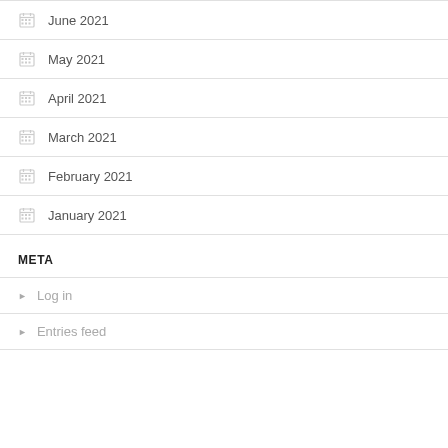June 2021
May 2021
April 2021
March 2021
February 2021
January 2021
META
Log in
Entries feed